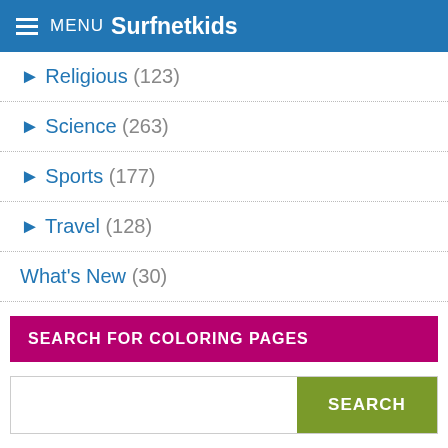MENU Surfnetkids
Religious (123)
Science (263)
Sports (177)
Travel (128)
What's New (30)
SEARCH FOR COLORING PAGES
SEARCH
MORE COLORING